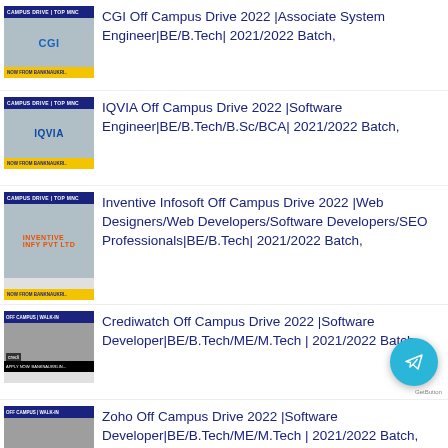CGI Off Campus Drive 2022 |Associate System Engineer|BE/B.Tech| 2021/2022 Batch,
IQVIA Off Campus Drive 2022 |Software Engineer|BE/B.Tech/B.Sc/BCA| 2021/2022 Batch,
Inventive Infosoft Off Campus Drive 2022 |Web Designers/Web Developers/Software Developers/SEO Professionals|BE/B.Tech| 2021/2022 Batch,
Crediwatch Off Campus Drive 2022 |Software Developer|BE/B.Tech/ME/M.Tech | 2021/2022 Batch,
Zoho Off Campus Drive 2022 |Software Developer|BE/B.Tech/ME/M.Tech | 2021/2022 Batch,